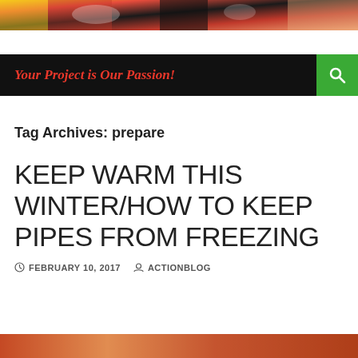[Figure (photo): Top banner image showing colorful action/construction scene with yellows, reds, and blacks]
Your Project is Our Passion!
Tag Archives: prepare
KEEP WARM THIS WINTER/HOW TO KEEP PIPES FROM FREEZING
FEBRUARY 10, 2017   ACTIONBLOG
[Figure (photo): Bottom partial image strip showing warm-toned scene]